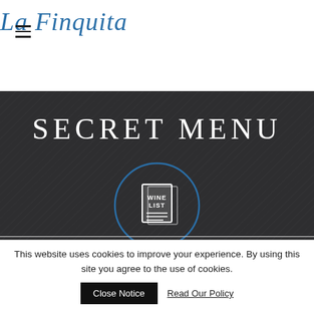La Finquita
SECRET MENU
[Figure (illustration): Wine list book icon inside a blue circle, white outline style on dark background]
This website uses cookies to improve your experience. By using this site you agree to the use of cookies.
Close Notice
Read Our Policy